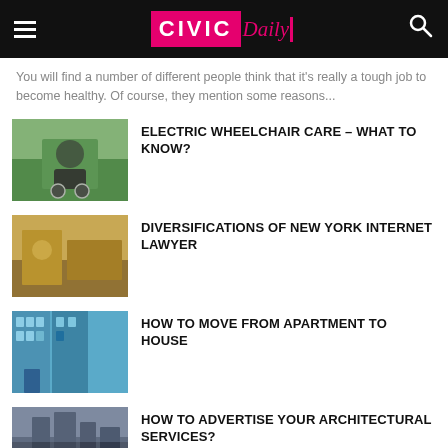CIVIC Daily
You will find a number of different people think that it's really a tough job to become healthy. Of course, they mention some reasons...
ELECTRIC WHEELCHAIR CARE – WHAT TO KNOW?
DIVERSIFICATIONS OF NEW YORK INTERNET LAWYER
HOW TO MOVE FROM APARTMENT TO HOUSE
HOW TO ADVERTISE YOUR ARCHITECTURAL SERVICES?